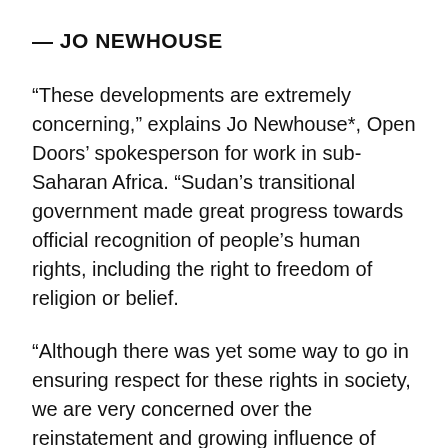— JO NEWHOUSE
“These developments are extremely concerning,” explains Jo Newhouse*, Open Doors’ spokesperson for work in sub-Saharan Africa. “Sudan’s transitional government made great progress towards official recognition of people’s human rights, including the right to freedom of religion or belief.
“Although there was yet some way to go in ensuring respect for these rights in society, we are very concerned over the reinstatement and growing influence of Islamist elements in government, and the regression in the respect for